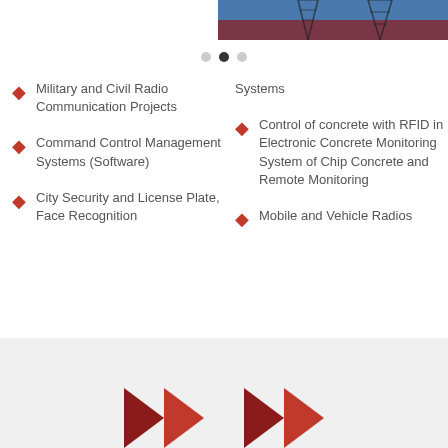[Figure (photo): Partial view of electrical transmission tower/pylon against blue sky, cropped to top strip]
[Figure (other): Pagination indicator dots: three dots, second is filled/active]
Military and Civil Radio Communication Projects
Command Control Management Systems (Software)
City Security and License Plate, Face Recognition
Systems
Control of concrete with RFID in Electronic Concrete Monitoring System of Chip Concrete and Remote Monitoring
Mobile and Vehicle Radios
[Figure (logo): Company logo area with dark red and red triangle/arrow shapes at bottom of page on gray background]